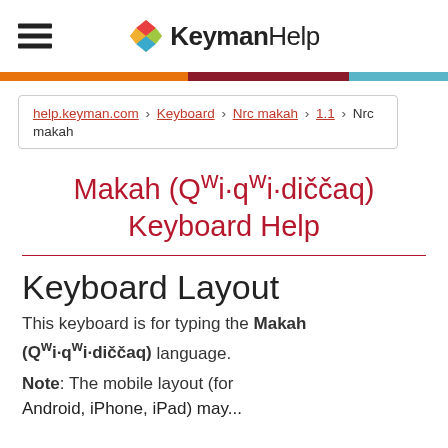KeymanHelp
help.keyman.com > Keyboard > Nrc makah > 1.1 > Nrc makah
Makah (Qʷi·qʷi·diččaq) Keyboard Help
Keyboard Layout
This keyboard is for typing the Makah (Qʷi·qʷi·diččaq) language.
Note: The mobile layout (for Android, iPhone, iPad) may...